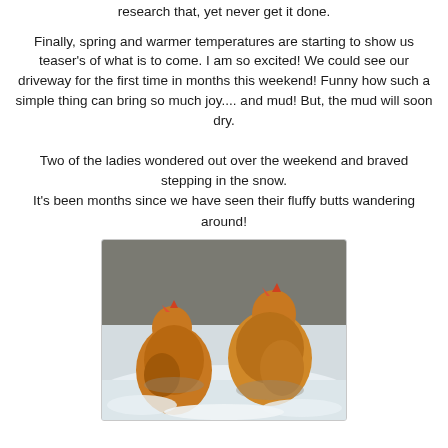research that, yet never get it done.
Finally, spring and warmer temperatures are starting to show us teaser's of what is to come. I am so excited! We could see our driveway for the first time in months this weekend! Funny how such a simple thing can bring so much joy.... and mud! But, the mud will soon dry.
Two of the ladies wondered out over the weekend and braved stepping in the snow.
It's been months since we have seen their fluffy butts wandering around!
[Figure (photo): Two brown/golden chickens standing in snow with a stone wall in the background]